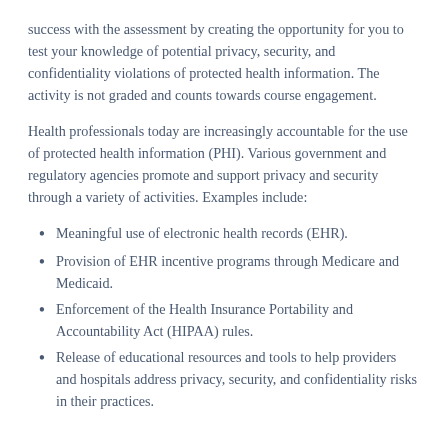success with the assessment by creating the opportunity for you to test your knowledge of potential privacy, security, and confidentiality violations of protected health information. The activity is not graded and counts towards course engagement.
Health professionals today are increasingly accountable for the use of protected health information (PHI). Various government and regulatory agencies promote and support privacy and security through a variety of activities. Examples include:
Meaningful use of electronic health records (EHR).
Provision of EHR incentive programs through Medicare and Medicaid.
Enforcement of the Health Insurance Portability and Accountability Act (HIPAA) rules.
Release of educational resources and tools to help providers and hospitals address privacy, security, and confidentiality risks in their practices.